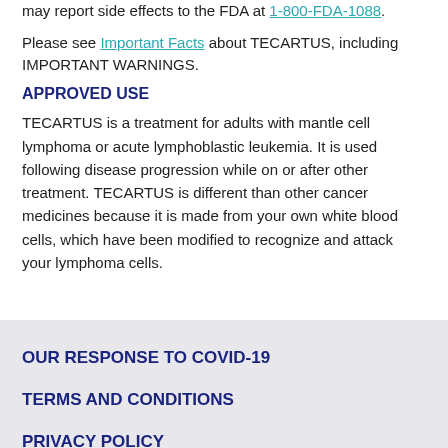may report side effects to the FDA at 1-800-FDA-1088.
Please see Important Facts about TECARTUS, including IMPORTANT WARNINGS.
APPROVED USE
TECARTUS is a treatment for adults with mantle cell lymphoma or acute lymphoblastic leukemia. It is used following disease progression while on or after other treatment. TECARTUS is different than other cancer medicines because it is made from your own white blood cells, which have been modified to recognize and attack your lymphoma cells.
OUR RESPONSE TO COVID-19
TERMS AND CONDITIONS
PRIVACY POLICY